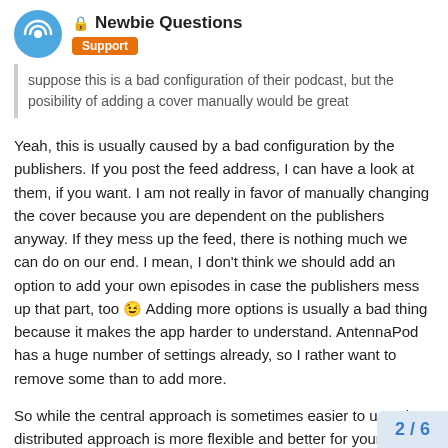🔒 Newbie Questions — Support
suppose this is a bad configuration of their podcast, but the posibility of adding a cover manually would be great
Yeah, this is usually caused by a bad configuration by the publishers. If you post the feed address, I can have a look at them, if you want. I am not really in favor of manually changing the cover because you are dependent on the publishers anyway. If they mess up the feed, there is nothing much we can do on our end. I mean, I don't think we should add an option to add your own episodes in case the publishers mess up that part, too 😉 Adding more options is usually a bad thing because it makes the app harder to understand. AntennaPod has a huge number of settings already, so I rather want to remove some than to add more.
So while the central approach is sometimes easier to use, the distributed approach is more flexible and better for your freedom and privacy.
2 / 6